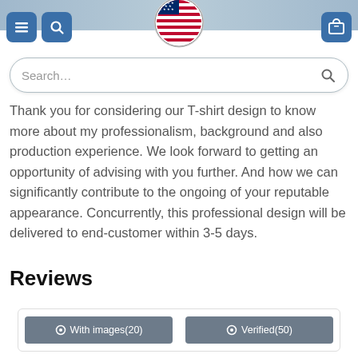[Figure (screenshot): Top image strip showing partial product/banner image, and navigation bar with menu icon, search icon, American flag logo circle, search bar overlay, and shopping cart icon]
Thank you for considering our T-shirt design to know more about my professionalism, background and also production experience. We look forward to getting an opportunity of advising with you further. And how we can significantly contribute to the ongoing of your reputable appearance. Concurrently, this professional design will be delivered to end-customer within 3-5 days.
Reviews
With images(20)   Verified(50)